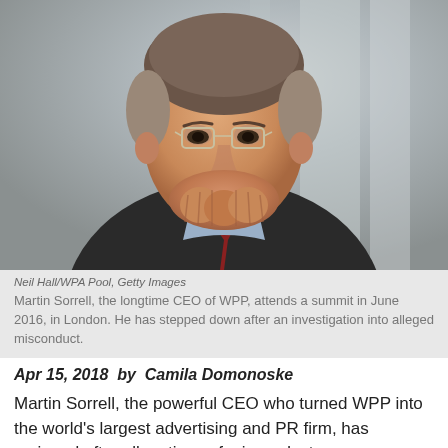[Figure (photo): Martin Sorrell, man in suit with clasped hands near face, looking pensive, wearing glasses, photographed at a summit]
Neil Hall/WPA Pool, Getty Images
Martin Sorrell, the longtime CEO of WPP, attends a summit in June 2016, in London. He has stepped down after an investigation into alleged misconduct.
Apr 15, 2018  by  Camila Domonoske
Martin Sorrell, the powerful CEO who turned WPP into the world's largest advertising and PR firm, has resigned after allegations of misconduct.